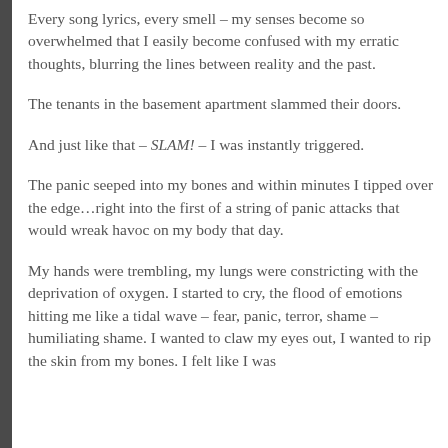Every song lyrics, every smell – my senses become so overwhelmed that I easily become confused with my erratic thoughts, blurring the lines between reality and the past.
The tenants in the basement apartment slammed their doors.
And just like that – SLAM! – I was instantly triggered.
The panic seeped into my bones and within minutes I tipped over the edge…right into the first of a string of panic attacks that would wreak havoc on my body that day.
My hands were trembling, my lungs were constricting with the deprivation of oxygen. I started to cry, the flood of emotions hitting me like a tidal wave – fear, panic, terror, shame – humiliating shame. I wanted to claw my eyes out, I wanted to rip the skin from my bones. I felt like I was